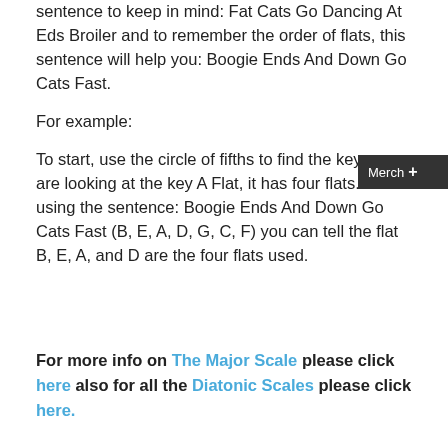sentence to keep in mind: Fat Cats Go Dancing At Eds Broiler and to remember the order of flats, this sentence will help you: Boogie Ends And Down Go Cats Fast.
For example:
To start, use the circle of fifths to find the key you are looking for. Say for example you are looking at the key A Flat, it has four flats. So using the sentence: Boogie Ends And Down Go Cats Fast (B, E, A, D, G, C, F) you can tell the flat B, E, A, and D are the four flats used.
For more info on The Major Scale please click here also for all the Diatonic Scales please click here.